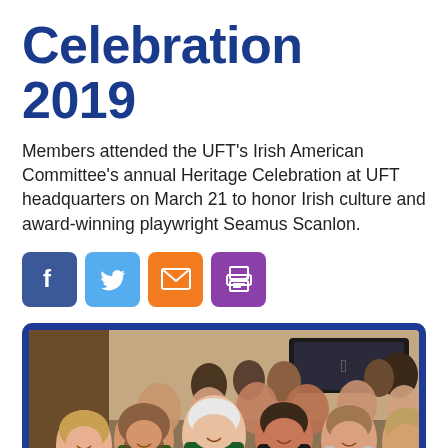Celebration 2019
Members attended the UFT's Irish American Committee's annual Heritage Celebration at UFT headquarters on March 21 to honor Irish culture and award-winning playwright Seamus Scanlon.
[Figure (infographic): Social media and action icon buttons: Facebook (blue), Twitter (light blue), Email (orange), Print (purple)]
[Figure (photo): Audience of members seated and smiling at the UFT Irish American Committee Heritage Celebration event indoors]